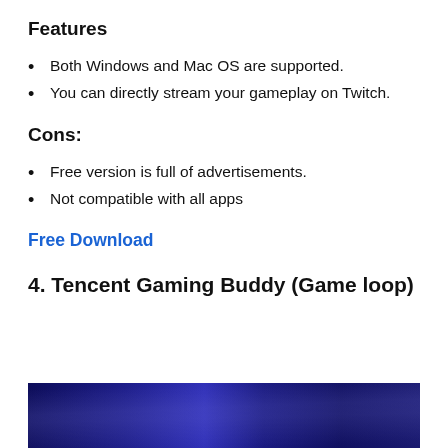Features
Both Windows and Mac OS are supported.
You can directly stream your gameplay on Twitch.
Cons:
Free version is full of advertisements.
Not compatible with all apps
Free Download
4. Tencent Gaming Buddy (Game loop)
[Figure (photo): Dark blue banner image at the bottom of the page, showing a dark blue/purple gradient background.]